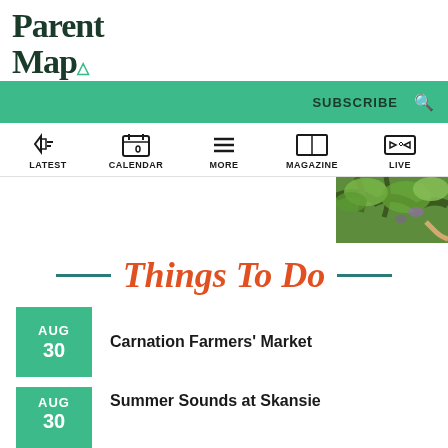ParentMap
SUBSCRIBE
LATEST | CALENDAR | MORE | MAGAZINE | LIVE
[Figure (photo): Partial photo of tree branches with green foliage, visible in upper right area]
Things To Do
AUG 30 — Carnation Farmers' Market
AUG 30 — Summer Sounds at Skansie